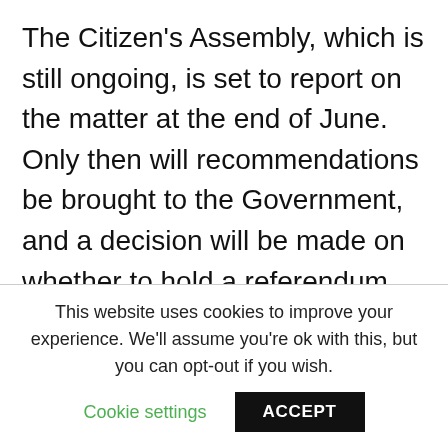The Citizen's Assembly, which is still ongoing, is set to report on the matter at the end of June. Only then will recommendations be brought to the Government, and a decision will be made on whether to hold a referendum.
It seems that a decision on the status of the eighth amendment is still far off, but the key phrase of those striking in streets of Dublin yesterday was “we won’t wait.”
This website uses cookies to improve your experience. We'll assume you're ok with this, but you can opt-out if you wish.